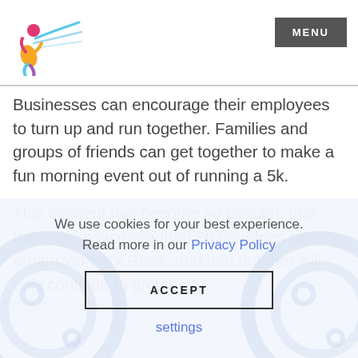[Figure (logo): Colorful running figure logo with streaks]
MENU
Businesses can encourage their employees to turn up and run together. Families and groups of friends can get together to make a fun morning event out of running a 5k.
This concept has become so popular, that there are now more than 20 countries hosting organized Park Runs, and that number will only continue to grow!
We use cookies for your best experience. Read more in our Privacy Policy
ACCEPT
settings